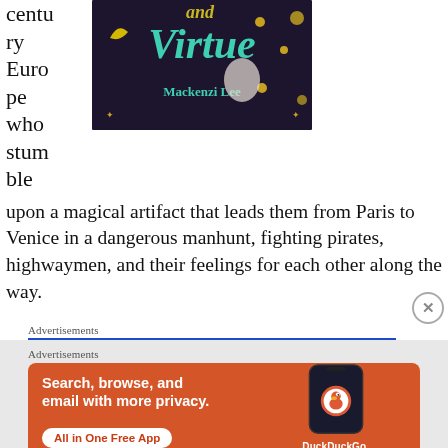century Europe who stumble
[Figure (photo): Book cover showing 'and Virtue' by Mackenzi Lee with decorative teal lettering and a figure with playing cards on a dark background]
upon a magical artifact that leads them from Paris to Venice in a dangerous manhunt, fighting pirates, highwaymen, and their feelings for each other along the way.
Advertisements
[Figure (screenshot): DuckDuckGo advertisement banner with orange background showing 'Search, browse, and email with more privacy. All in One Free App' with a phone mockup and DuckDuckGo logo]